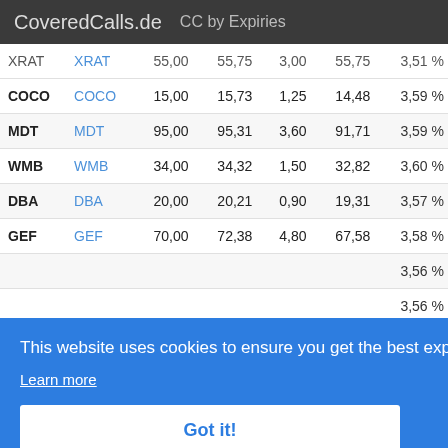CoveredCalls.de   CC by Expiries
|  | Link | Strike | Price | Premium | Net | Yield |
| --- | --- | --- | --- | --- | --- | --- |
| XRAT | XRAT | 55,00 | 55,75 | 3,00 | 55,75 | 3,51 % |
| COCO | COCO | 15,00 | 15,73 | 1,25 | 14,48 | 3,59 % |
| MDT | MDT | 95,00 | 95,31 | 3,60 | 91,71 | 3,59 % |
| WMB | WMB | 34,00 | 34,32 | 1,50 | 32,82 | 3,60 % |
| DBA | DBA | 20,00 | 20,21 | 0,90 | 19,31 | 3,57 % |
| GEF | GEF | 70,00 | 72,38 | 4,80 | 67,58 | 3,58 % |
|  |  |  |  |  |  | 3,56 % |
|  |  |  |  |  |  | 3,56 % |
|  |  |  |  |  |  | 3,56 % |
|  |  |  |  |  |  | 3,56 % |
|  |  |  |  |  |  | 3,54 % |
|  |  |  |  |  |  | 3,52 % |
| TTOB | TTOB | 5,00 | 5,25 | 0,42 | 4,55 | 3,52 % |
This website uses cookies to ensure you get the best experience on our website.
Learn more
Got it!